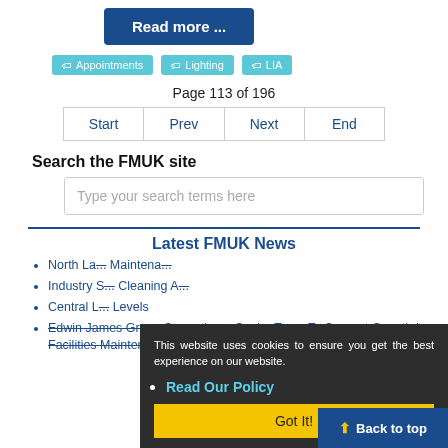Read more ...
Appointments
Lighting
LIA
Page 113 of 196
Start | Prev | Next | End
Search the FMUK site
Type your search terms here
Latest FMUK News
North La... Maintenance
Industry S... Cleaning A...
Central L... Levels
Edwin James Group Strengthens Senior Team To Support Growth In Facilities Maintenance
This website uses cookies to ensure you get the best experience on our website.
Read Our Policy
Got It!